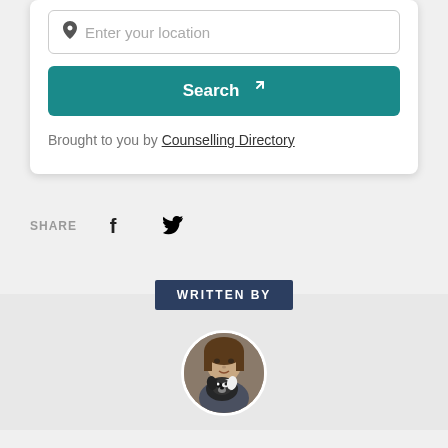Enter your location
Search
Brought to you by Counselling Directory
SHARE
[Figure (screenshot): Facebook share button icon]
[Figure (screenshot): Twitter share button icon]
WRITTEN BY
[Figure (photo): Circular author photo showing a woman with a small black and white dog]